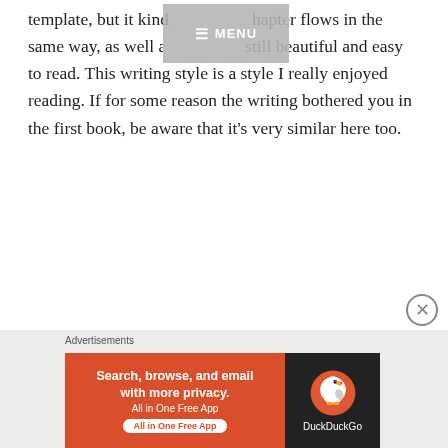template, but it kind of chapter flows in the same way, as well as still beautiful and easy to read. This writing style is a style I really enjoyed reading. If for some reason the writing bothered you in the first book, be aware that it's very similar here too.
[Figure (screenshot): Gray semi-transparent MENU button overlay with dashed border and hamburger icon]
[Figure (screenshot): Close/dismiss button (circled X) overlaid on the ad area]
Advertisements
[Figure (screenshot): DuckDuckGo advertisement banner: orange left panel reading 'Search, browse, and email with more privacy. All in One Free App' with white pill button; dark right panel with DuckDuckGo duck logo and text 'DuckDuckGo']